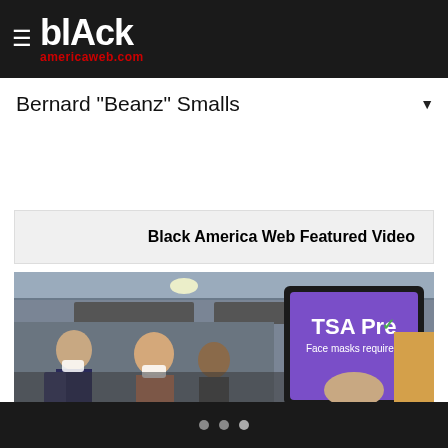blAck americaweb.com
Bernard "Beanz" Smalls
Black America Web Featured Video
[Figure (photo): Airport scene with masked travelers at TSA Pre checkpoint kiosk showing 'TSA Pre - Face masks required.' sign on a tablet]